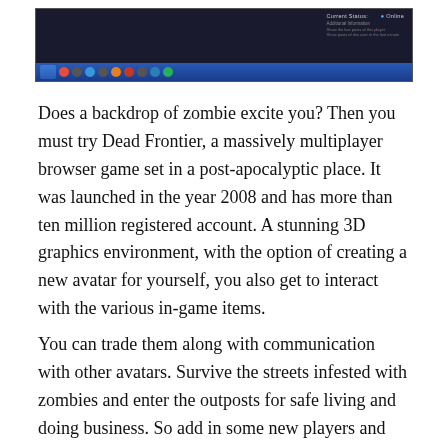[Figure (screenshot): A screenshot of a dark game interface (Dead Frontier) showing a status/profile panel with 'Current Status: Online' text, additional information fields, and a Windows taskbar at the bottom with browser icons.]
Does a backdrop of zombie excite you? Then you must try Dead Frontier, a massively multiplayer browser game set in a post-apocalyptic place. It was launched in the year 2008 and has more than ten million registered account. A stunning 3D graphics environment, with the option of creating a new avatar for yourself, you also get to interact with the various in-game items.
You can trade them along with communication with other avatars. Survive the streets infested with zombies and enter the outposts for safe living and doing business. So add in some new players and deal with these zombie hordes as Dead Frontier is one of the best multiplayer browsing games.
Everybody Edits